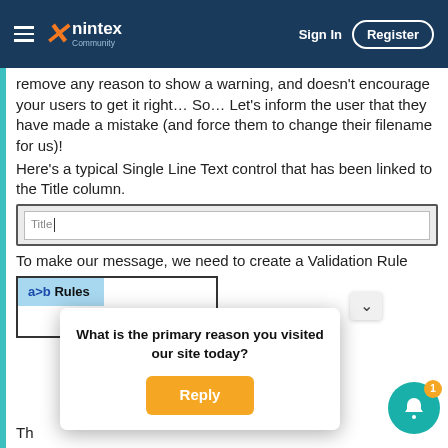nintex Community — Sign In | Register
remove any reason to show a warning, and doesn't encourage your users to get it right… So… Let's inform the user that they have made a mistake (and force them to change their filename for us)!
Here's a typical Single Line Text control that has been linked to the Title column.
[Figure (screenshot): A Single Line Text input field with placeholder text 'Title' and a cursor]
To make our message, we need to create a Validation Rule
[Figure (screenshot): A Rules panel showing 'a>b Rules' tab in a form designer interface]
[Figure (screenshot): A popup dialog asking 'What is the primary reason you visited our site today?' with a Reply button]
Th